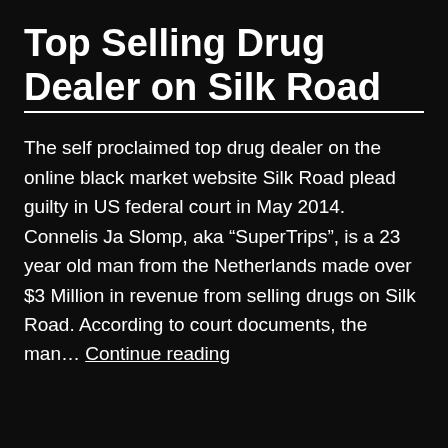Top Selling Drug Dealer on Silk Road
The self proclaimed top drug dealer on the online black market website Silk Road plead guilty in US federal court in May 2014. Connelis Ja Slomp, aka “SuperTrips”, is a 23 year old man from the Netherlands made over $3 Million in revenue from selling drugs on Silk Road. According to court documents, the man… Continue reading